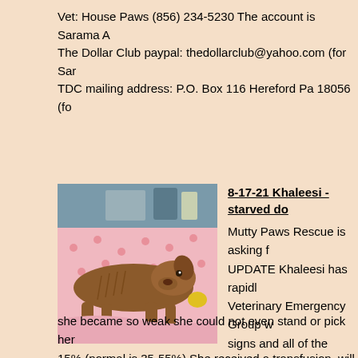Vet: House Paws (856) 234-5230 The account is Sarama A The Dollar Club paypal: thedollarclub@yahoo.com (for Sar TDC mailing address: P.O. Box 116 Hereford Pa 18056 (fo
[Figure (photo): A severely emaciated brown dog lying on patterned blankets in what appears to be a veterinary sink or metal basin.]
8-17-21 Khaleesi - starved do
Mutty Paws Rescue is asking f ⁠UPDATE⁠ Khaleesi has rapidl Veterinary Emergency Group w signs and all of the necessary initially and was in great hands she became so weak she could not even stand or pick her 15% (normal is 35-55%) She received a transfusion, will re planned later today if no improvement •X-rays of abdomen was 1.4 and to be stable needs to be at least at 2 •X-ray of respiratory status is being monitored •Her fecal showed me